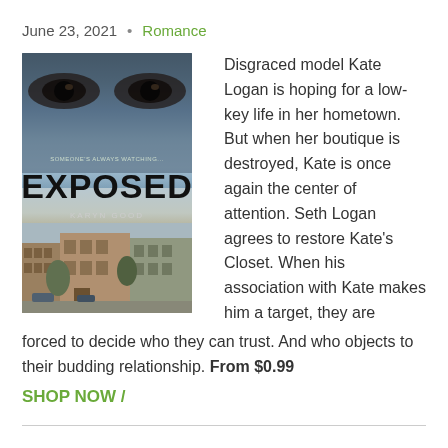June 23, 2021  •  Romance
[Figure (illustration): Book cover for 'Exposed' by Karyn Good. Dark moody cover with close-up eyes at the top, the title EXPOSED in large bold letters in the middle, and a street scene with buildings at the bottom. Tagline reads 'Someone's Always Watching...']
Disgraced model Kate Logan is hoping for a low-key life in her hometown. But when her boutique is destroyed, Kate is once again the center of attention. Seth Logan agrees to restore Kate's Closet. When his association with Kate makes him a target, they are forced to decide who they can trust. And who objects to their budding relationship. From $0.99
SHOP NOW /